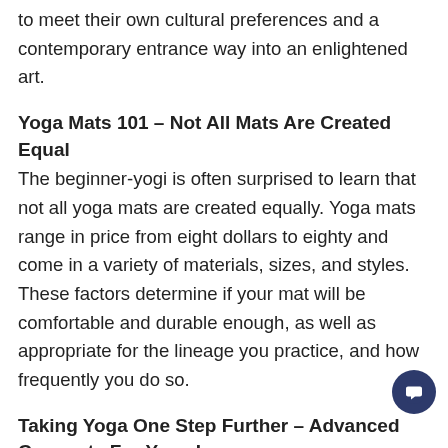to meet their own cultural preferences and a contemporary entrance way into an enlightened art.
Yoga Mats 101 – Not All Mats Are Created Equal
The beginner-yogi is often surprised to learn that not all yoga mats are created equally. Yoga mats range in price from eight dollars to eighty and come in a variety of materials, sizes, and styles. These factors determine if your mat will be comfortable and durable enough, as well as appropriate for the lineage you practice, and how frequently you do so.
Taking Yoga One Step Further – Advanced Concepts For Yoga Lovers
Are you looking to extend your understanding of Yoga beyond the yoga classes that you take? Here we give further insight into this ancient practice.The correct practice of numerous postures in Yoga helps one to deal with real life situation is